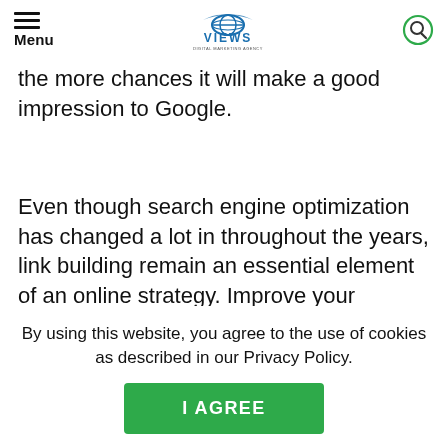Menu | VIEWS DIGITAL MARKETING AGENCY
the more chances it will make a good impression to Google.
Even though search engine optimization has changed a lot in throughout the years, link building remain an essential element of an online strategy. Improve your products and services, be innovative and creative, craft compelling content
By using this website, you agree to the use of cookies as described in our Privacy Policy.
I AGREE